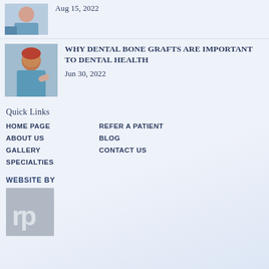Aug 15, 2022
[Figure (photo): Dental patient in chair, partial view]
WHY DENTAL BONE GRAFTS ARE IMPORTANT TO DENTAL HEALTH
Jun 30, 2022
Quick Links
HOME PAGE
REFER A PATIENT
ABOUT US
BLOG
GALLERY
CONTACT US
SPECIALTIES
WEBSITE BY
[Figure (logo): rp logo — grey square with lowercase 'rp' in white/light text]